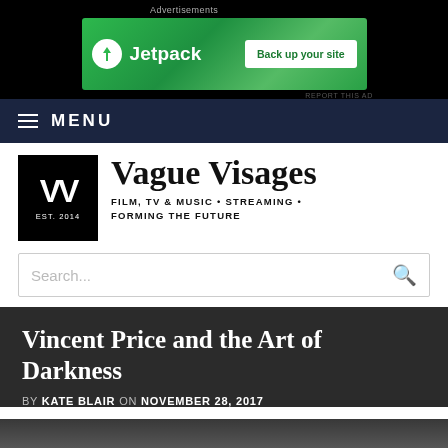[Figure (screenshot): Jetpack advertisement banner on black background with green Jetpack logo and 'Back up your site' button]
≡ MENU
[Figure (logo): Vague Visages logo: black square with VV and EST. 2014, followed by site name]
Vague Visages
FILM, TV & MUSIC • STREAMING • FORMING THE FUTURE
Search...
Vincent Price and the Art of Darkness
BY KATE BLAIR ON NOVEMBER 28, 2017
[Figure (photo): Black and white photograph, partially visible, showing a person's face]